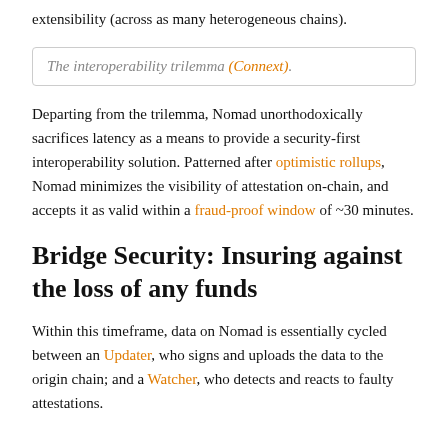extensibility (across as many heterogeneous chains).
The interoperability trilemma (Connext).
Departing from the trilemma, Nomad unorthodoxically sacrifices latency as a means to provide a security-first interoperability solution. Patterned after optimistic rollups, Nomad minimizes the visibility of attestation on-chain, and accepts it as valid within a fraud-proof window of ~30 minutes.
Bridge Security: Insuring against the loss of any funds
Within this timeframe, data on Nomad is essentially cycled between an Updater, who signs and uploads the data to the origin chain; and a Watcher, who detects and reacts to faulty attestations.